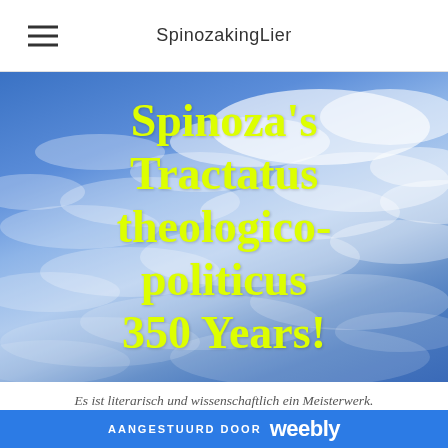SpinozakingLier
[Figure (photo): Blue sky with white cirrus clouds background image]
Spinoza's Tractatus theologico-politicus 350 Years!
Es ist literarisch und wissenschaftlich ein Meisterwerk.
AANGESTUURD DOOR weebly